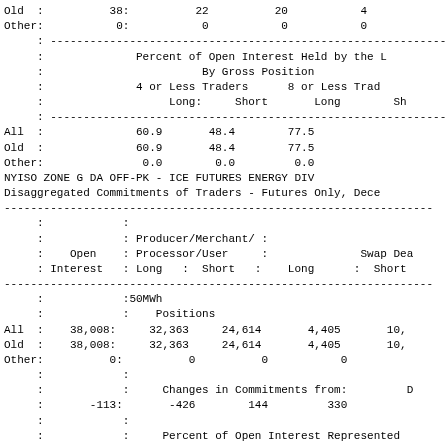|  | Open Interest | Producer/Merchant/Processor/User Long | Producer/Merchant/Processor/User Short | Long | Short |
| --- | --- | --- | --- | --- | --- |
| Old | 38: | 22 | 20 | 4 |  |
| Other: | 0: | 0 | 0 | 0 |  |
|  |  | Percent of Open Interest Held by the |  |  |  |
|  |  | By Gross Position |  |  |  |
|  |  | 4 or Less Traders |  | 8 or Less Trad |  |
|  |  | Long: | Short | Long | Sh |
| All |  | 60.9 | 48.4 | 77.5 |  |
| Old |  | 60.9 | 48.4 | 77.5 |  |
| Other: |  | 0.0 | 0.0 | 0.0 |  |
NYISO ZONE G DA OFF-PK - ICE FUTURES ENERGY DIV
Disaggregated Commitments of Traders - Futures Only, Dece
|  | Open Interest | Producer/Merchant/Processor/User Long | Producer/Merchant/Processor/User Short | Long | Short |
| --- | --- | --- | --- | --- | --- |
|  |  | Producer/Merchant/ |  |  | Swap Dea |
|  | Open | Processor/User |  |  | Short |
|  | Interest | Long : Short |  | Long | Short |
|  |  | 50MWh |  |  |  |
|  |  | Positions |  |  |  |
| All | 38,008: | 32,363 | 24,614 | 4,405 | 10, |
| Old | 38,008: | 32,363 | 24,614 | 4,405 | 10, |
| Other: | 0: | 0 | 0 | 0 |  |
|  |  | Changes in Commitments from: |  |  | D |
|  | -113: | -426 | 144 | 330 |  |
|  |  | Percent of Open Interest Represented |  |  |  |